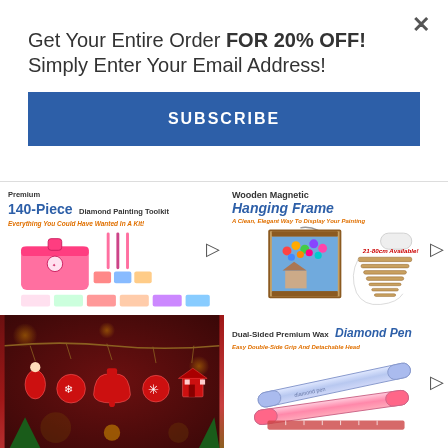Get Your Entire Order FOR 20% OFF! Simply Enter Your Email Address!
SUBSCRIBE
[Figure (photo): Premium 140-Piece Diamond Painting Toolkit product image with pink toolbox and accessories]
[Figure (photo): Wooden Magnetic Hanging Frame product image showing framed colorful painting, 21-80cm Available]
[Figure (photo): Christmas ornaments - red holiday decorations hanging on string including angels, bells, snowflakes, and houses]
[Figure (photo): Dual-Sided Premium Wax Diamond Pen product image showing clear/pink pen]